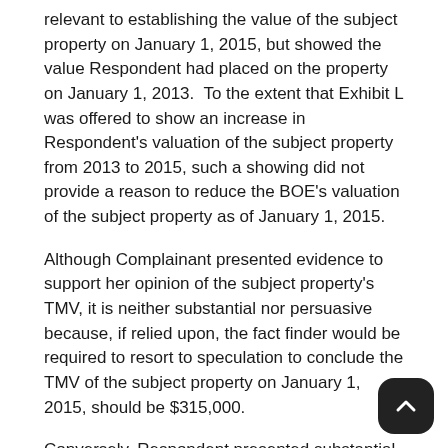relevant to establishing the value of the subject property on January 1, 2015, but showed the value Respondent had placed on the property on January 1, 2013.  To the extent that Exhibit L was offered to show an increase in Respondent's valuation of the subject property from 2013 to 2015, such a showing did not provide a reason to reduce the BOE's valuation of the subject property as of January 1, 2015.
Although Complainant presented evidence to support her opinion of the subject property's TMV, it is neither substantial nor persuasive because, if relied upon, the fact finder would be required to resort to speculation to conclude the TMV of the subject property on January 1, 2015, should be $315,000.
Conversely, Respondent presented substantial and persuasive evidence to support his conclusion that the TMV of the subject property was $365,000 on January 1, 2015. In arriving at an opinion of value, the Appraiser considered all three approaches to value the subject property: the cost approach, the income approach, and the sales comparison approach. The Appraiser